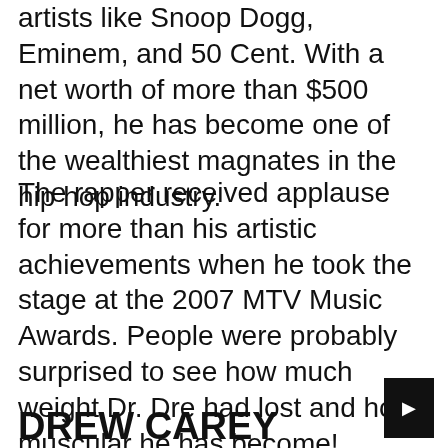artists like Snoop Dogg, Eminem, and 50 Cent. With a net worth of more than $500 million, he has become one of the wealthiest magnates in the hip hop industry.
The rapper received applause for more than his artistic achievements when he took the stage at the 2007 MTV Music Awards. People were probably surprised to see how much weight Dr. Dre had lost and how muscular he has become! Although the look of his arms was a little more than others might have liked, there's no denying that he looks fantastic.
DREW CAREY